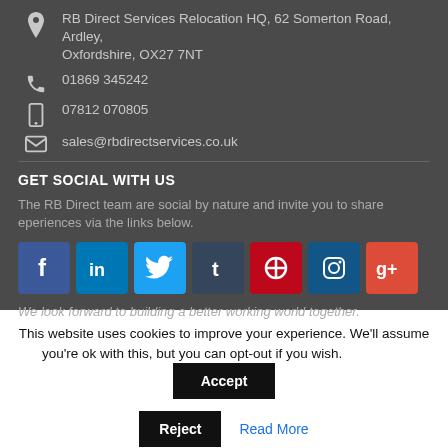RB Direct Services Relocation HQ, 62 Somerton Road, Ardley, Oxfordshire, OX27 7NT
01869 345242
07812 070805
sales@rbdirectservices.co.uk
GET SOCIAL WITH US
The RB Direct team are social by nature and invite you to share eperiences via the links below.
[Figure (other): Social media icons row: Facebook, LinkedIn, Twitter, Tumblr, Pinterest, Instagram, Google+]
We look forward to building a better working world together.
This website uses cookies to improve your experience. We'll assume you're ok with this, but you can opt-out if you wish.
Accept
Reject
Read More